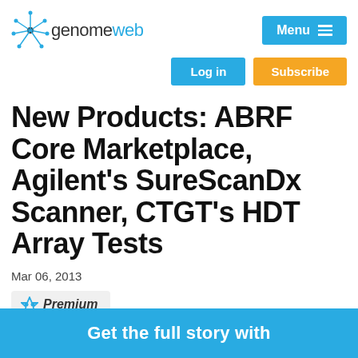genomeweb
New Products: ABRF Core Marketplace, Agilent's SureScanDx Scanner, CTGT's HDT Array Tests
Mar 06, 2013
Premium
The Association of Biomolecular Resource Facilities…
Get the full story with